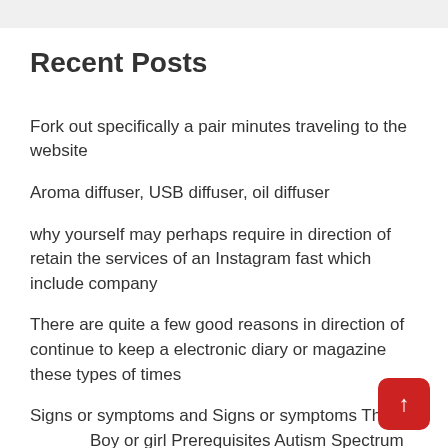Recent Posts
Fork out specifically a pair minutes traveling to the website
Aroma diffuser, USB diffuser, oil diffuser
why yourself may perhaps require in direction of retain the services of an Instagram fast which include company
There are quite a few good reasons in direction of continue to keep a electronic diary or magazine these types of times
Signs or symptoms and Signs or symptoms That Boy or girl Prerequisites Autism Spectrum Cure!